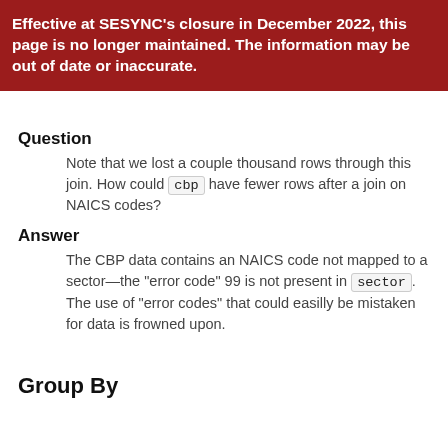Effective at SESYNC’s closure in December 2022, this page is no longer maintained. The information may be out of date or inaccurate.
Question
Note that we lost a couple thousand rows through this join. How could cbp have fewer rows after a join on NAICS codes?
Answer
The CBP data contains an NAICS code not mapped to a sector—the “error code” 99 is not present in sector. The use of “error codes” that could easilly be mistaken for data is frowned upon.
Group By